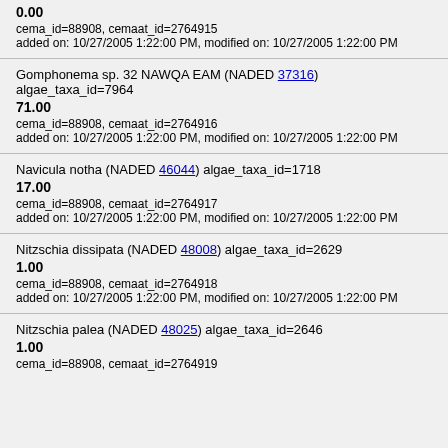0.00
cema_id=88908, cemaat_id=2764915
added on: 10/27/2005 1:22:00 PM, modified on: 10/27/2005 1:22:00 PM
Gomphonema sp. 32 NAWQA EAM (NADED 37316) algae_taxa_id=7964
71.00
cema_id=88908, cemaat_id=2764916
added on: 10/27/2005 1:22:00 PM, modified on: 10/27/2005 1:22:00 PM
Navicula notha (NADED 46044) algae_taxa_id=1718
17.00
cema_id=88908, cemaat_id=2764917
added on: 10/27/2005 1:22:00 PM, modified on: 10/27/2005 1:22:00 PM
Nitzschia dissipata (NADED 48008) algae_taxa_id=2629
1.00
cema_id=88908, cemaat_id=2764918
added on: 10/27/2005 1:22:00 PM, modified on: 10/27/2005 1:22:00 PM
Nitzschia palea (NADED 48025) algae_taxa_id=2646
1.00
cema_id=88908, cemaat_id=2764919